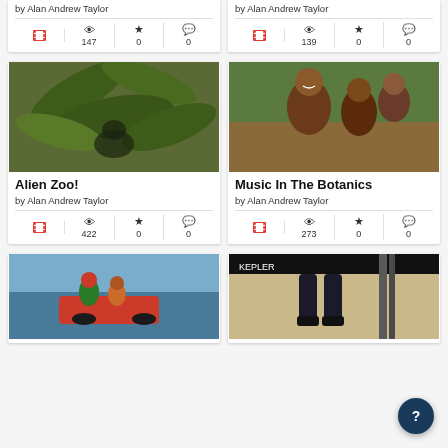by Alan Andrew Taylor
147 views, 0 stars, 0 comments
by Alan Andrew Taylor
139 views, 0 stars, 0 comments
[Figure (photo): Video thumbnail showing tropical plant leaves with a figure below, sepia/green toned (Alien Zoo!)]
Alien Zoo!
by Alan Andrew Taylor
422 views, 0 stars, 0 comments
[Figure (photo): Video thumbnail showing people at an outdoor event, African cultural performers smiling and performing (Music In The Botanics)]
Music In The Botanics
by Alan Andrew Taylor
273 views, 0 stars, 0 comments
[Figure (photo): Video thumbnail showing people with a motorized vehicle on water]
[Figure (photo): Video thumbnail showing a person performing on stage, legs visible with crowd behind]